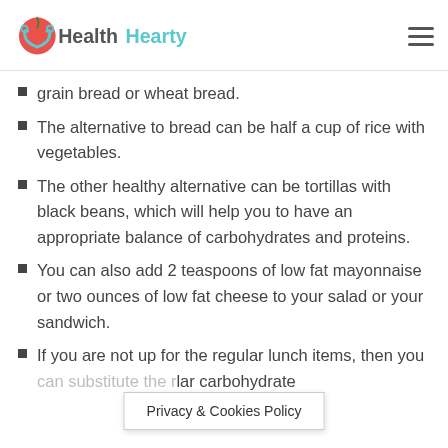HealthHearty
grain bread or wheat bread.
The alternative to bread can be half a cup of rice with vegetables.
The other healthy alternative can be tortillas with black beans, which will help you to have an appropriate balance of carbohydrates and proteins.
You can also add 2 teaspoons of low fat mayonnaise or two ounces of low fat cheese to your salad or your sandwich.
If you are not up for the regular lunch items, then you can substitute the regular carbohydrate ...